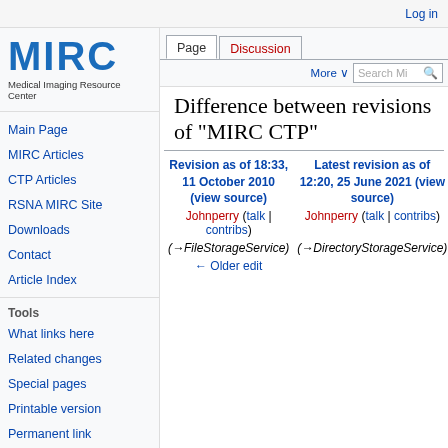Log in
[Figure (logo): MIRC logo - Medical Imaging Resource Center blue bold text logo]
Main Page
MIRC Articles
CTP Articles
RSNA MIRC Site
Downloads
Contact
Article Index
Tools
What links here
Related changes
Special pages
Printable version
Permanent link
Difference between revisions of "MIRC CTP"
| Revision as of 18:33, 11 October 2010 (view source) | Latest revision as of 12:20, 25 June 2021 (view source) |
| --- | --- |
| Johnperry (talk | contribs) | Johnperry (talk | contribs) |
| (→FileStorageService) | (→DirectoryStorageService) |
| ← Older edit |  |